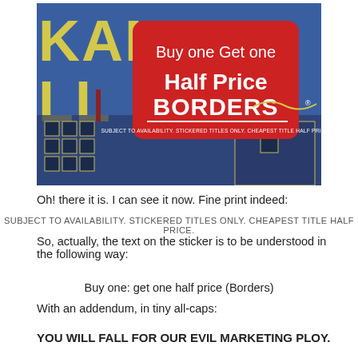[Figure (photo): Photo of a book cover with a red Borders promotional sticker reading 'Buy one Get one Half Price BORDERS®' with fine print 'SUBJECT TO AVAILABILITY. STICKERED TITLES ONLY. CHEAPEST TITLE HALF PRICE.' The book cover is blue with yellow text partially visible reading 'KANDER LL'.]
Oh! there it is. I can see it now. Fine print indeed:
SUBJECT TO AVAILABILITY. STICKERED TITLES ONLY. CHEAPEST TITLE HALF PRICE.
So, actually, the text on the sticker is to be understood in the following way:
Buy one: get one half price (Borders)
With an addendum, in tiny all-caps:
YOU WILL FALL FOR OUR EVIL MARKETING PLOY.